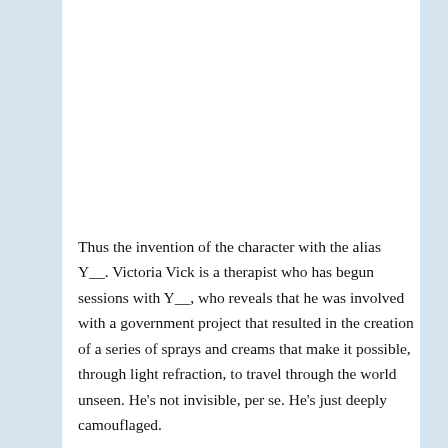Thus the invention of the character with the alias Y__. Victoria Vick is a therapist who has begun sessions with Y__, who reveals that he was involved with a government project that resulted in the creation of a series of sprays and creams that make it possible, through light refraction, to travel through the world unseen. He's not invisible, per se. He's just deeply camouflaged.